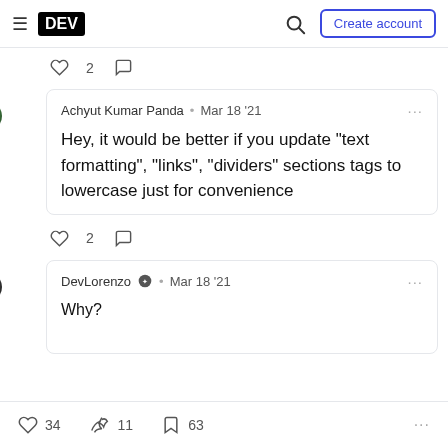DEV — Create account
♡ 2  ○
Achyut Kumar Panda · Mar 18 '21
Hey, it would be better if you update "text formatting", "links", "dividers" sections tags to lowercase just for convenience
♡ 2  ○
DevLorenzo · Mar 18 '21
Why?
♡ 34   ✦ 11   ☐ 63   ...